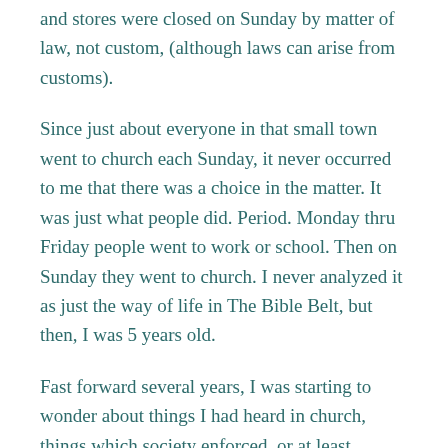and stores were closed on Sunday by matter of law, not custom, (although laws can arise from customs).
Since just about everyone in that small town went to church each Sunday, it never occurred to me that there was a choice in the matter. It was just what people did. Period. Monday thru Friday people went to work or school. Then on Sunday they went to church. I never analyzed it as just the way of life in The Bible Belt, but then, I was 5 years old.
Fast forward several years, I was starting to wonder about things I had heard in church, things which society enforced, or at least historically embraced because, well, it was in the Bible so it was “God’s will.”  Incidentally, these doubts weren’t just in church, but also school. Each morning for my first 9 years of schooling we said a prayer, and in some cases Bible verses, before our academic day began. Some